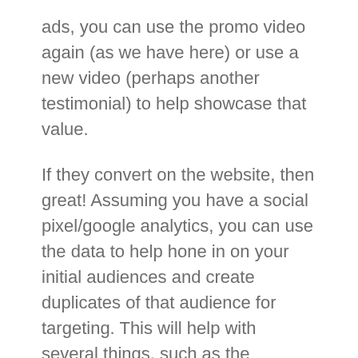ads, you can use the promo video again (as we have here) or use a new video (perhaps another testimonial) to help showcase that value.
If they convert on the website, then great! Assuming you have a social pixel/google analytics, you can use the data to help hone in on your initial audiences and create duplicates of that audience for targeting. This will help with several things, such as the messaging on your copy, lowering your cost per click and cost per lead, and getting a better sense of who online is responding to your